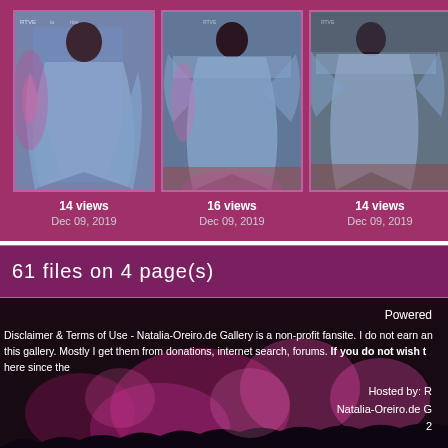[Figure (photo): Three thumbnail photos of a woman in a blue dress at a red carpet event with sponsor logos in background]
14 views
Dec 09, 2019
16 views
Dec 09, 2019
14 views
Dec 09, 2019
61 files on 4 page(s)
Powered by
Disclaimer & Terms of Use - Natalia-Oreiro.de Gallery is a non-profit fansite. I do not earn any money from this gallery. Mostly I get them from donations, internet search, forums. If you do not wish to see your images here since the
Hosted by: R
Natalia-Oreiro.de G
2